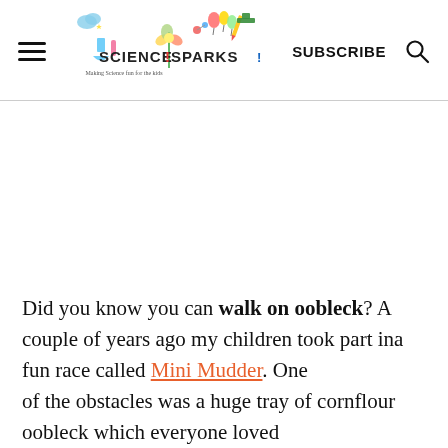Science Sparks — SUBSCRIBE
[Figure (logo): Science Sparks logo with colorful science illustrations and text 'Science Sparks - Making Science fun for kids']
Did you know you can walk on oobleck? A couple of years ago my children took part in a fun race called Mini Mudder. One of the obstacles was a huge tray of cornflour oobleck which everyone loved